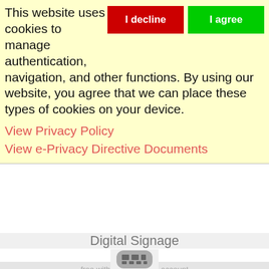This website uses cookies to manage authentication, navigation, and other functions. By using our website, you agree that we can place these types of cookies on your device.
View Privacy Policy
View e-Privacy Directive Documents
free with every hosting account
READ MORE +
Digital Signage
[Figure (illustration): Gray digital signage device icon - rounded rectangle shape with screen displaying grid/mosaic content]